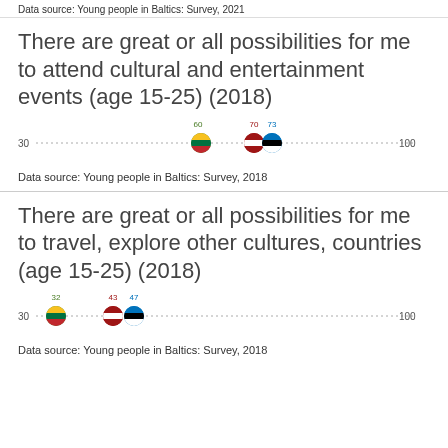Data source: Young people in Baltics: Survey, 2021
There are great or all possibilities for me to attend cultural and entertainment events (age 15-25) (2018)
[Figure (scatter-plot): There are great or all possibilities for me to attend cultural and entertainment events (age 15-25) (2018)]
Data source: Young people in Baltics: Survey, 2018
There are great or all possibilities for me to travel, explore other cultures, countries (age 15-25) (2018)
[Figure (scatter-plot): There are great or all possibilities for me to travel, explore other cultures, countries (age 15-25) (2018)]
Data source: Young people in Baltics: Survey, 2018